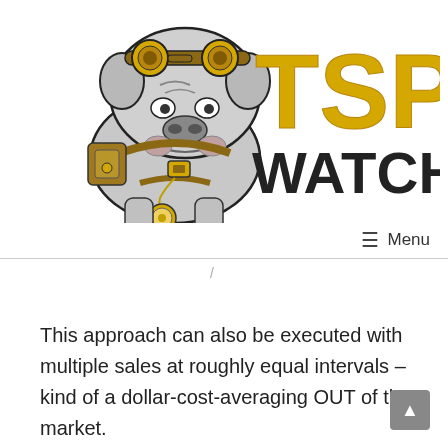[Figure (logo): TSP Watchdog logo: steampunk bulldog with aviator goggles and gear, next to bold text 'TSP' in gold and 'WATCHDOG' in dark gray/black]
≡  Menu
/
This approach can also be executed with multiple sales at roughly equal intervals – kind of a dollar-cost-averaging OUT of the market.